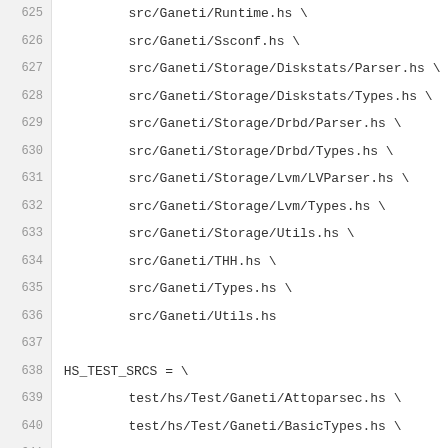625     src/Ganeti/Runtime.hs \
626     src/Ganeti/Ssconf.hs \
627     src/Ganeti/Storage/Diskstats/Parser.hs \
628     src/Ganeti/Storage/Diskstats/Types.hs \
629     src/Ganeti/Storage/Drbd/Parser.hs \
630     src/Ganeti/Storage/Drbd/Types.hs \
631     src/Ganeti/Storage/Lvm/LVParser.hs \
632     src/Ganeti/Storage/Lvm/Types.hs \
633     src/Ganeti/Storage/Utils.hs \
634     src/Ganeti/THH.hs \
635     src/Ganeti/Types.hs \
636     src/Ganeti/Utils.hs
637
638 HS_TEST_SRCS = \
639     test/hs/Test/Ganeti/Attoparsec.hs \
640     test/hs/Test/Ganeti/BasicTypes.hs \
641     test/hs/Test/Ganeti/Common.hs \
642     test/hs/Test/Ganeti/Confd/Types.hs \
643     test/hs/Test/Ganeti/Confd/Utils.hs \
644     test/hs/Test/Ganeti/Daemon.hs \
645     test/hs/Test/Ganeti/Errors.hs \
646     test/hs/Test/Ganeti/HTools/Backend/Simu.hs \
647     test/hs/Test/Ganeti/HTools/Backend/Text.hs \
648     test/hs/Test/Ganeti/HTools/CLI.hs \
649     test/hs/Test/Ganeti/HTools/Cluster.hs \